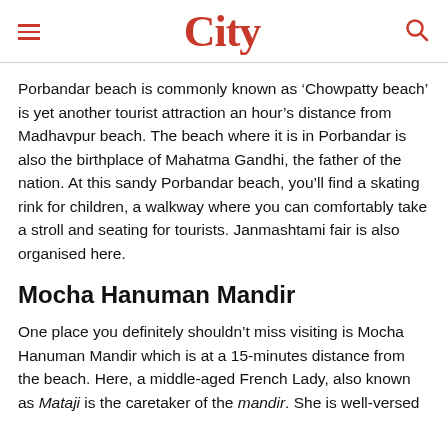City
Porbandar beach is commonly known as ‘Chowpatty beach’ is yet another tourist attraction an hour’s distance from Madhavpur beach. The beach where it is in Porbandar is also the birthplace of Mahatma Gandhi, the father of the nation. At this sandy Porbandar beach, you’ll find a skating rink for children, a walkway where you can comfortably take a stroll and seating for tourists. Janmashtami fair is also organised here.
Mocha Hanuman Mandir
One place you definitely shouldn’t miss visiting is Mocha Hanuman Mandir which is at a 15-minutes distance from the beach. Here, a middle-aged French Lady, also known as Mataji is the caretaker of the mandir. She is well-versed in Sanskrit and has a distinct style for the prayer of the...